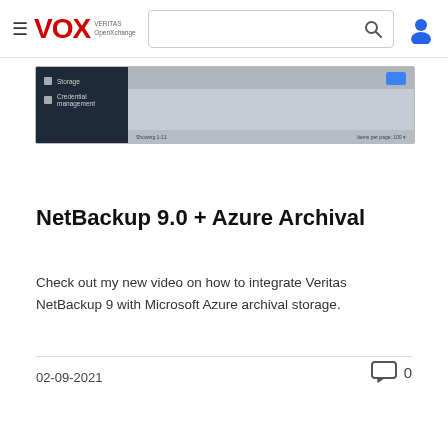VOX - Veritas OpenXchange - Navigation bar with search
[Figure (screenshot): Partial screenshot of a web application showing a dark sidebar with Storage and Credential management menu items, and a main content area with a blue button and pagination footer.]
NetBackup 9.0 + Azure Archival
Check out my new video on how to integrate Veritas NetBackup 9 with Microsoft Azure archival storage.
02-09-2021
0